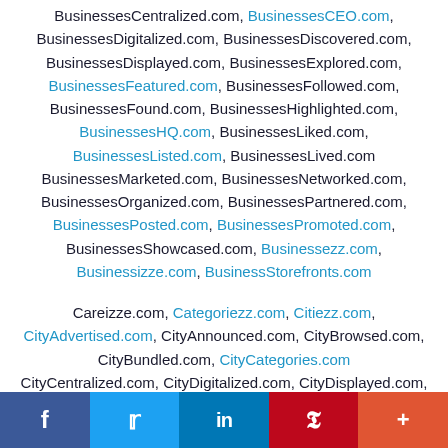BusinessesCentralized.com, BusinessesCEO.com, BusinessesDigitalized.com, BusinessesDiscovered.com, BusinessesDisplayed.com, BusinessesExplored.com, BusinessesFeatured.com, BusinessesFollowed.com, BusinessesFound.com, BusinessesHighlighted.com, BusinessesHQ.com, BusinessesLiked.com, BusinessesListed.com, BusinessesLived.com BusinessesMarketed.com, BusinessesNetworked.com, BusinessesOrganized.com, BusinessesPartnered.com, BusinessesPosted.com, BusinessesPromoted.com, BusinessesShowcased.com, Businessezz.com, Businessizze.com, BusinessStorefronts.com
Careizze.com, Categoriezz.com, Citiezz.com, CityAdvertised.com, CityAnnounced.com, CityBrowsed.com, CityBundled.com, CityCategories.com CityCentralized.com, CityDigitalized.com, CityDisplayed.com, CityFollowed.com, CityHighlighted.com, Cityizze.com, CityLifestyled.com, CityLiked.com, CityLived.com
f  t  in  P  +